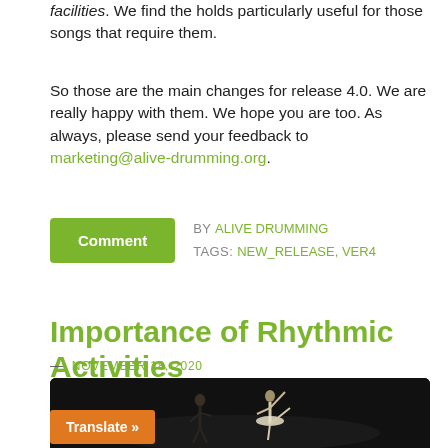facilities. We find the holds particularly useful for those songs that require them.
So those are the main changes for release 4.0. We are really happy with them. We hope you are too. As always, please send your feedback to marketing@alive-drumming.org.
Comment  BY ALIVE DRUMMING  TAGS: NEW_RELEASE, VER4
Importance of Rhythmic Activities
— NOVEMBER 18, 2020
[Figure (photo): Ballet dancers on a dark stage, one dancer in white costume performing a pose]